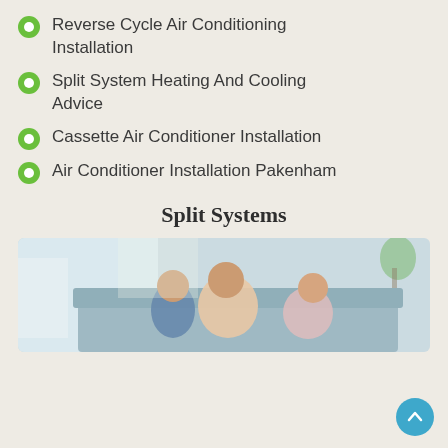Reverse Cycle Air Conditioning Installation
Split System Heating And Cooling Advice
Cassette Air Conditioner Installation
Air Conditioner Installation Pakenham
Split Systems
[Figure (photo): A mother laughing on a couch while two children hug her, in a bright living room setting]